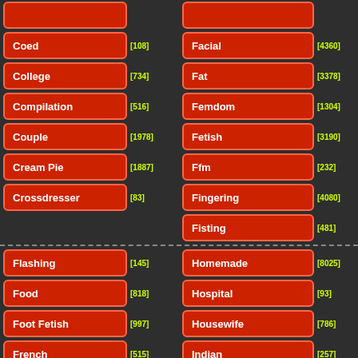Coed [108]
College [734]
Compilation [516]
Couple [1978]
Cream Pie [1887]
Crossdresser [83]
Facial [4360]
Fat [3378]
Femdom [1304]
Fetish [3190]
Ffm [232]
Fingering [4080]
Fisting [481]
Flashing [145]
Food [818]
Foot Fetish [997]
French [515]
Fucking [18232]
Homemade [8025]
Hospital [93]
Housewife [786]
Indian [257]
Insertion [1446]
Interracial [4380]